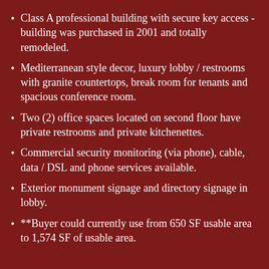Class A professional building with secure key access - building was purchased in 2001 and totally remodeled.
Mediterranean style decor, luxury lobby / restrooms with granite countertops, break room for tenants and spacious conference room.
Two (2) office spaces located on second floor have private restrooms and private kitchenettes.
Commercial security monitoring (via phone), cable, data / DSL and phone services available.
Exterior monument signage and directory signage in lobby.
**Buyer could currently use from 650 SF usable area to 1,574 SF of usable area.
• • • • • • •